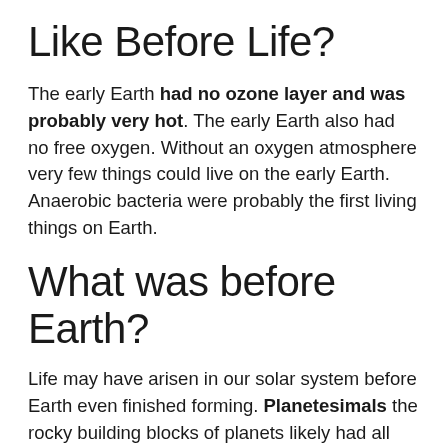Like Before Life?
The early Earth had no ozone layer and was probably very hot. The early Earth also had no free oxygen. Without an oxygen atmosphere very few things could live on the early Earth. Anaerobic bacteria were probably the first living things on Earth.
What was before Earth?
Life may have arisen in our solar system before Earth even finished forming. Planetesimals the rocky building blocks of planets likely had all the ingredients